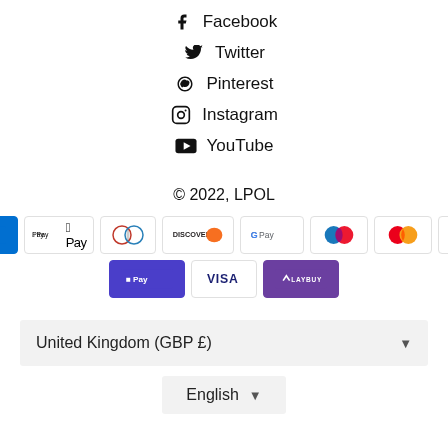Facebook
Twitter
Pinterest
Instagram
YouTube
© 2022, LPOL
[Figure (other): Payment method badges: American Express, Apple Pay, Diners Club, Discover, Google Pay, Maestro, Mastercard, PayPal, Shopify Pay, Visa, Laybuy]
United Kingdom (GBP £)
English